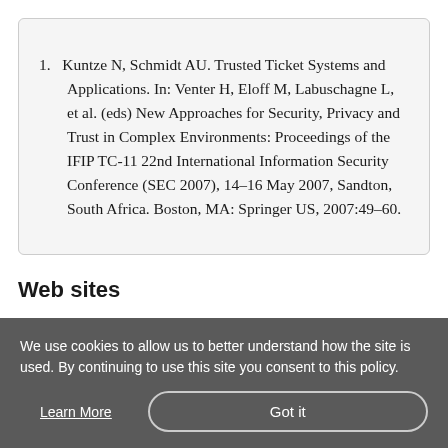1. Kuntze N, Schmidt AU. Trusted Ticket Systems and Applications. In: Venter H, Eloff M, Labuschagne L, et al. (eds) New Approaches for Security, Privacy and Trust in Complex Environments: Proceedings of the IFIP TC-11 22nd International Information Security Conference (SEC 2007), 14–16 May 2007, Sandton, South Africa. Boston, MA: Springer US, 2007:49–60.
Web sites
We use cookies to allow us to better understand how the site is used. By continuing to use this site you consent to this policy.
Learn More
Got it